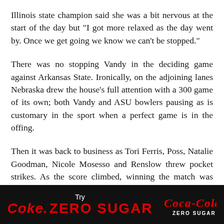Illinois state champion said she was a bit nervous at the start of the day but "I got more relaxed as the day went by. Once we get going we know we can't be stopped."
There was no stopping Vandy in the deciding game against Arkansas State. Ironically, on the adjoining lanes Nebraska drew the house's full attention with a 300 game of its own; both Vandy and ASU bowlers pausing as is customary in the sport when a perfect game is in the offing.
Then it was back to business as Tori Ferris, Poss, Natalie Goodman, Nicole Mosesso and Renslow threw pocket strikes. As the score climbed, winning the match was obvious and the only matter was whether Vandy could match the Cornhuskers' perfection. It came down to Renslow, who came through again.
[Figure (logo): Coca-Cola Zero Sugar advertisement banner on black background with 'Try Coke. ZERO SUGAR' text and Coca-Cola Zero Sugar logo]